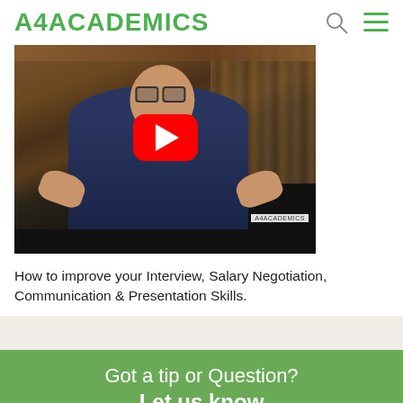A4ACADEMICS
[Figure (screenshot): Video thumbnail showing a man gesturing with hands, wearing glasses and a dark t-shirt, sitting in front of a bookshelf. A YouTube-style red play button overlay is centered on the image. A4ACADEMICS watermark visible at bottom right.]
How to improve your Interview, Salary Negotiation, Communication & Presentation Skills.
Got a tip or Question? Let us know